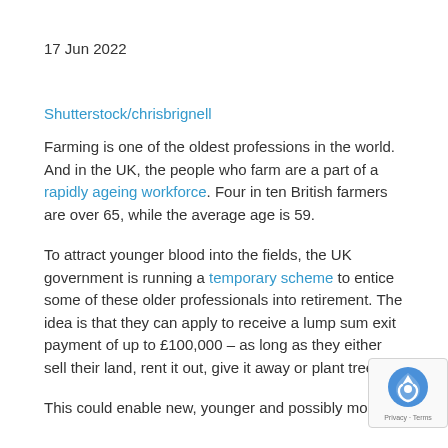17 Jun 2022
Shutterstock/chrisbrignell
Farming is one of the oldest professions in the world. And in the UK, the people who farm are a part of a rapidly ageing workforce. Four in ten British farmers are over 65, while the average age is 59.
To attract younger blood into the fields, the UK government is running a temporary scheme to entice some of these older professionals into retirement. The idea is that they can apply to receive a lump sum exit payment of up to £100,000 – as long as they either sell their land, rent it out, give it away or plant trees on
This could enable new, younger and possibly more